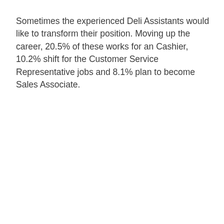Sometimes the experienced Deli Assistants would like to transform their position. Moving up the career, 20.5% of these works for an Cashier, 10.2% shift for the Customer Service Representative jobs and 8.1% plan to become Sales Associate.